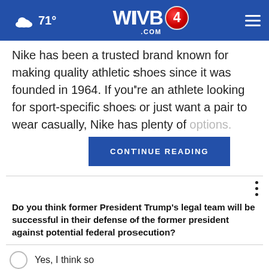71° WIVB4.COM
Nike has been a trusted brand known for making quality athletic shoes since it was founded in 1964. If you're an athlete looking for sport-specific shoes or just want a pair to wear casually, Nike has plenty of options.
CONTINUE READING
Do you think former President Trump's legal team will be successful in their defense of the former president against potential federal prosecution?
Yes, I think so
Maybe, I'm not sure